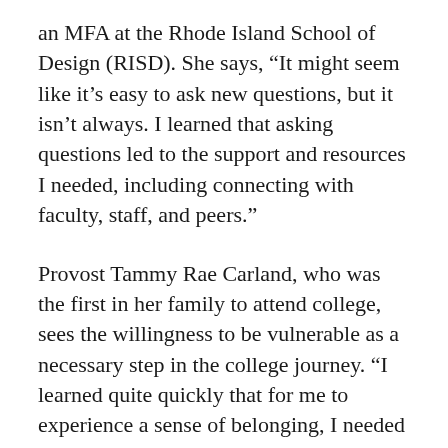an MFA at the Rhode Island School of Design (RISD). She says, “It might seem like it’s easy to ask new questions, but it isn’t always. I learned that asking questions led to the support and resources I needed, including connecting with faculty, staff, and peers.”
Provost Tammy Rae Carland, who was the first in her family to attend college, sees the willingness to be vulnerable as a necessary step in the college journey. “I learned quite quickly that for me to experience a sense of belonging, I needed to step out of my comfort zone,” she says. “Allowing myself to be honest about who I am and what I bring has sparked opportunities I never would have had if I simply tried to conform.”
The National First-Generation College Celebration encourages connection among first-gen students at